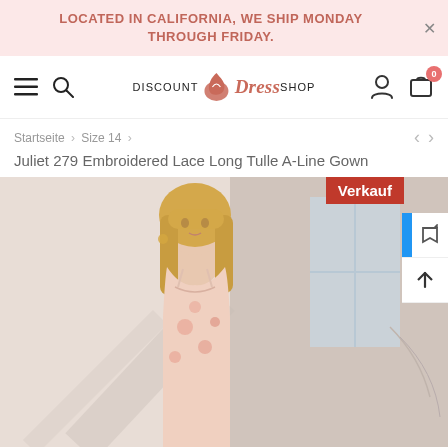LOCATED IN CALIFORNIA, WE SHIP MONDAY THROUGH FRIDAY.
[Figure (screenshot): Website navigation bar with hamburger menu, search icon, Discount Dress Shop logo, user icon, and cart icon showing 0 items]
Startseite > Size 14 >
Juliet 279 Embroidered Lace Long Tulle A-Line Gown
[Figure (photo): Model wearing a pink floral embroidered lace A-line gown with spaghetti straps, blonde hair, standing in a light-filled room. Sale badge labeled 'Verkauf' in top right corner.]